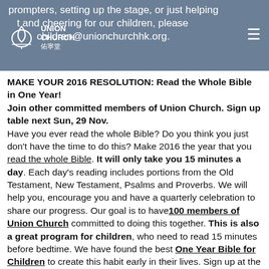prompters, setting up the stage, or just helping [support] and cheering for our children, please [email] children@unionchurchhk.org.
MAKE YOUR 2016 RESOLUTION: Read the Whole Bible in One Year!
Join other committed members of Union Church. Sign up table next Sun, 29 Nov.
Have you ever read the whole Bible? Do you think you just don't have the time to do this? Make 2016 the year that you read the whole Bible. It will only take you 15 minutes a day. Each day's reading includes portions from the Old Testament, New Testament, Psalms and Proverbs. We will help you, encourage you and have a quarterly celebration to share our progress. Our goal is to have 100 members of Union Church committed to doing this together. This is also a great program for children, who need to read 15 minutes before bedtime. We have found the best One Year Bible for Children to create this habit early in their lives. Sign up at the "Read the Whole Bible in One Year Commitment" table on the Green after services on Sun, 29 Nov. Or contact Danielle Downing or Chris Yorks for more information